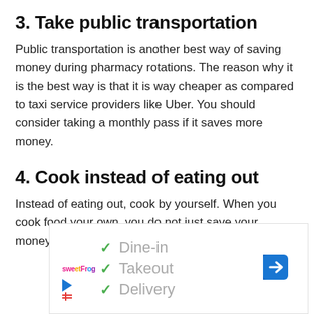3. Take public transportation
Public transportation is another best way of saving money during pharmacy rotations. The reason why it is the best way is that it is way cheaper as compared to taxi service providers like Uber. You should consider taking a monthly pass if it saves more money.
4. Cook instead of eating out
Instead of eating out, cook by yourself. When you cook food your own, you do not just save your money,
[Figure (screenshot): Advertisement box showing restaurant options: Dine-in, Takeout, Delivery with green checkmarks, SweetFrog logo, navigation arrow icon, and a play/streaming icon.]